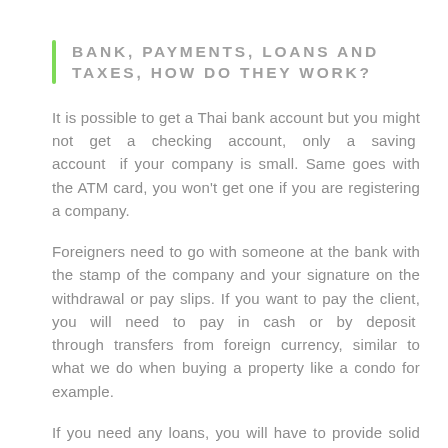BANK, PAYMENTS, LOANS AND TAXES, HOW DO THEY WORK?
It is possible to get a Thai bank account but you might not get a checking account, only a saving account if your company is small. Same goes with the ATM card, you won't get one if you are registering a company.
Foreigners need to go with someone at the bank with the stamp of the company and your signature on the withdrawal or pay slips. If you want to pay the client, you will need to pay in cash or by deposit through transfers from foreign currency, similar to what we do when buying a property like a condo for example.
If you need any loans, you will have to provide solid paperwork and proofs of stability. Since it is not easy at all for foreigners to get a loan in Thailand, it is recommended to approach the bank from your home country.